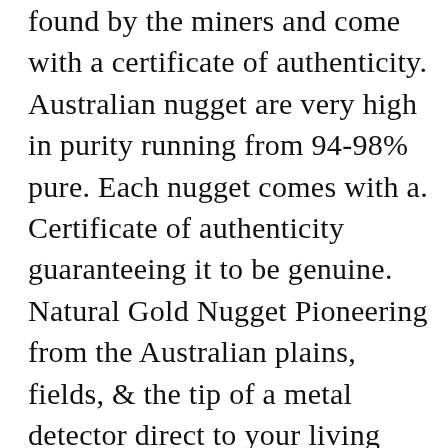found by the miners and come with a certificate of authenticity. Australian nugget are very high in purity running from 94-98% pure. Each nugget comes with a. Certificate of authenticity guaranteeing it to be genuine. Natural Gold Nugget Pioneering from the Australian plains, fields, & the tip of a metal detector direct to your living room...... In November of 2013 I opened up my Gold Nugget store. With thousands of satisfied customers I will continue to strive to provide the highest quality, largest selection and best priced gold nuggets on. My Source for Australian Gold Nuggets for Sale the GoldenTriangle. Except for the richer and more extensive gold-bearing fields of California, the gold production in the State of Victoria was